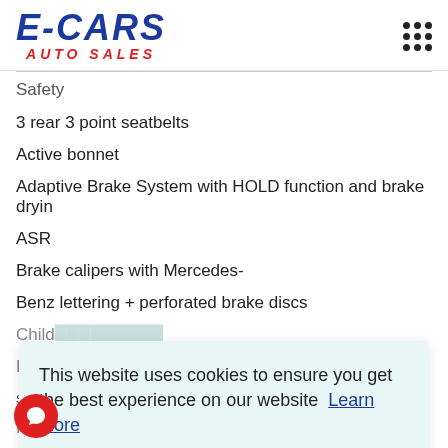E-CARS AUTO SALES
Safety
3 rear 3 point seatbelts
Active bonnet
Adaptive Brake System with HOLD function and brake dryin
ASR
Brake calipers with Mercedes-
Benz lettering + perforated brake discs
Child... (partially obscured)
Dual... stage (partially obscured)
Elect... (partially obscured)
Elect... (partially obscured)
This website uses cookies to ensure you get the best experience on our website  Learn more
I accept